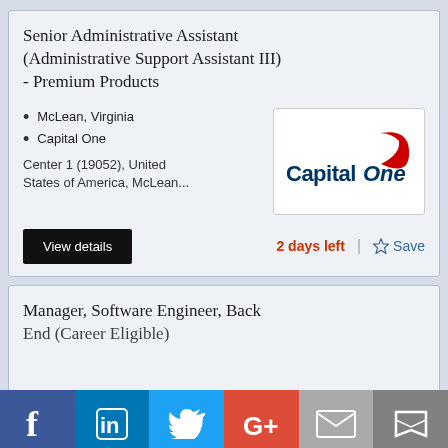Senior Administrative Assistant (Administrative Support Assistant III) - Premium Products
McLean, Virginia
Capital One
Center 1 (19052), United States of America, McLean...
[Figure (logo): Capital One logo with red swoosh and blue bold text]
View details
2 days left
Save
Manager, Software Engineer, Back End (Career Eligible)
[Figure (infographic): Social sharing bar with Facebook, LinkedIn, Twitter, Google+, Email, and bookmark icons]